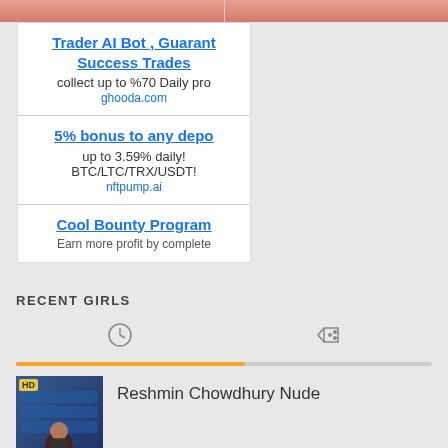[Figure (photo): Two cropped thumbnail images side by side at top of page showing skin-toned content]
Trader AI Bot , Guarant Success Trades
collect up to %70 Daily pro
ghooda.com
5% bonus to any depo
up to 3.59% daily!
BTC/LTC/TRX/USDT!
nftpump.ai
Cool Bounty Program
Earn more profit by complete
RECENT GIRLS
[Figure (photo): Thumbnail of a woman sitting in stadium seating with blue chairs]
Reshmin Chowdhury Nude